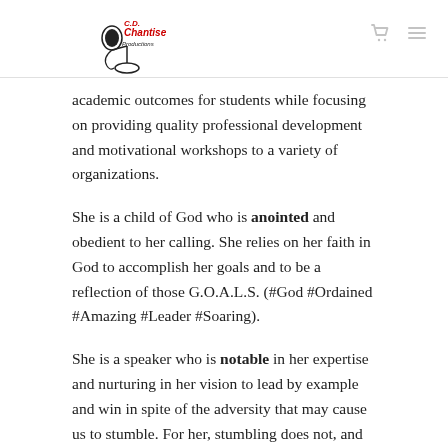[Logo: C.D. Chantise] [cart icon] [menu icon]
academic outcomes for students while focusing on providing quality professional development and motivational workshops to a variety of organizations.
She is a child of God who is anointed and obedient to her calling. She relies on her faith in God to accomplish her goals and to be a reflection of those G.O.A.L.S. (#God #Ordained #Amazing #Leader #Soaring).
She is a speaker who is notable in her expertise and nurturing in her vision to lead by example and win in spite of the adversity that may cause us to stumble. For her, stumbling does not, and will not, ever mean stopping.